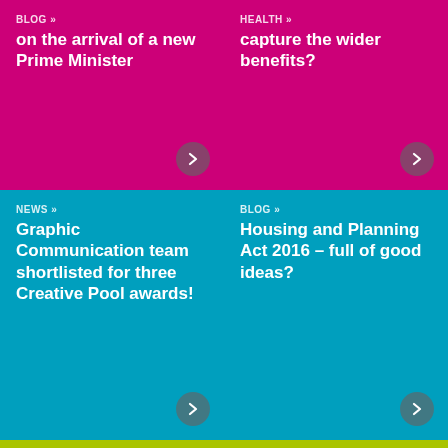BLOG »
on the arrival of a new Prime Minister
HEALTH »
capture the wider benefits?
NEWS »
Graphic Communication team shortlisted for three Creative Pool awards!
BLOG »
Housing and Planning Act 2016 – full of good ideas?
INTELLIGENCE »
Can the current planning system deliver NIA's
BLOG »
The House of Sports Direct